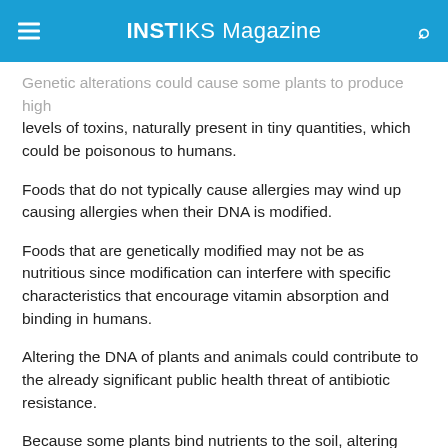INSTIKS Magazine
Genetic alterations could cause some plants to produce high levels of toxins, naturally present in tiny quantities, which could be poisonous to humans.
Foods that do not typically cause allergies may wind up causing allergies when their DNA is modified.
Foods that are genetically modified may not be as nutritious since modification can interfere with specific characteristics that encourage vitamin absorption and binding in humans.
Altering the DNA of plants and animals could contribute to the already significant public health threat of antibiotic resistance.
Because some plants bind nutrients to the soil, altering their DNA may decrease soil fertility.
If there are so many risks, why are they so prevalent in the